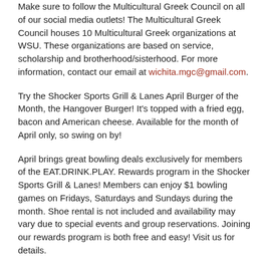Make sure to follow the Multicultural Greek Council on all of our social media outlets! The Multicultural Greek Council houses 10 Multicultural Greek organizations at WSU. These organizations are based on service, scholarship and brotherhood/sisterhood. For more information, contact our email at wichita.mgc@gmail.com.
Try the Shocker Sports Grill & Lanes April Burger of the Month, the Hangover Burger! It's topped with a fried egg, bacon and American cheese. Available for the month of April only, so swing on by!
April brings great bowling deals exclusively for members of the EAT.DRINK.PLAY. Rewards program in the Shocker Sports Grill & Lanes! Members can enjoy $1 bowling games on Fridays, Saturdays and Sundays during the month. Shoe rental is not included and availability may vary due to special events and group reservations. Joining our rewards program is both free and easy! Visit us for details.
En Mas' curator Claire Tancons will speak on Tuesday, April 24. Reception is at 5:30 p.m. The talk will start at 6:00 p.m. Admission is free and open to the public.
Sigma Psi Zeta Sorority, Inc. is hosting their annual Clothesline Project on April 30, 2018 from 10 a.m.-12:30 in the Rhatigan Student Center Room 142. The Clothesline Project is a campaign